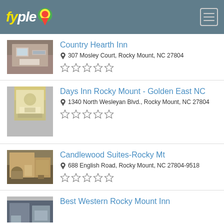fyple
Country Hearth Inn
307 Mosley Court, Rocky Mount, NC 27804
☆☆☆☆☆
Days Inn Rocky Mount - Golden East NC
1340 North Wesleyan Blvd., Rocky Mount, NC 27804
☆☆☆☆☆
Candlewood Suites-Rocky Mt
688 English Road, Rocky Mount, NC 27804-9518
☆☆☆☆☆
Best Western Rocky Mount Inn